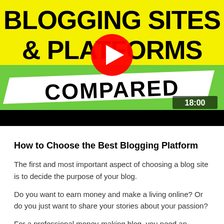[Figure (screenshot): YouTube video thumbnail showing 'Blogging Sites & Platforms Compared' with a YouTube play button overlay, yellow and green background, and a duration of 18:00]
How to Choose the Best Blogging Platform
The first and most important aspect of choosing a blog site is to decide the purpose of your blog.
Do you want to earn money and make a living online? Or do you just want to share your stories about your passion?
For a professional money-making blog, you need an